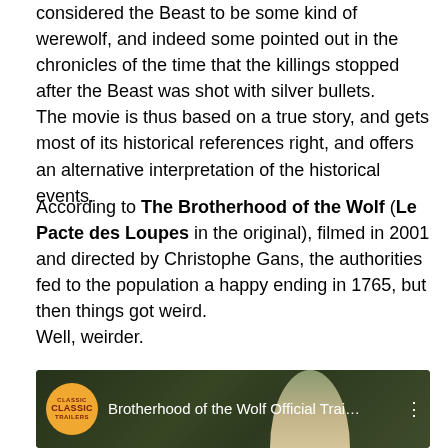considered the Beast to be some kind of werewolf, and indeed some pointed out in the chronicles of the time that the killings stopped after the Beast was shot with silver bullets.
The movie is thus based on a true story, and gets most of its historical references right, and offers an alternative interpretation of the historical events.
According to The Brotherhood of the Wolf (Le Pacte des Loupes in the original), filmed in 2001 and directed by Christophe Gans, the authorities fed to the population a happy ending in 1765, but then things got weird.
Well, weirder.
[Figure (screenshot): Video thumbnail for 'Brotherhood of the Wolf Official Trai...' with a Classic Trailers badge (orange circle) on the left and a dark forest/person background. Three-dot menu icon on right.]